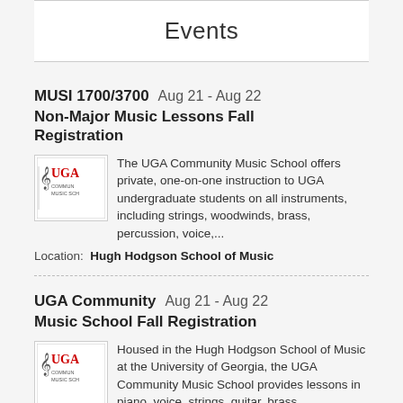Events
MUSI 1700/3700   Aug 21 - Aug 22
Non-Major Music Lessons Fall Registration
The UGA Community Music School offers private, one-on-one instruction to UGA undergraduate students on all instruments, including strings, woodwinds, brass, percussion, voice,...
Location:  Hugh Hodgson School of Music
UGA Community   Aug 21 - Aug 22
Music School Fall Registration
Housed in the Hugh Hodgson School of Music at the University of Georgia, the UGA Community Music School provides lessons in piano, voice, strings, guitar, brass, woodwind,...
Location:  Hugh Hodgson School of Music